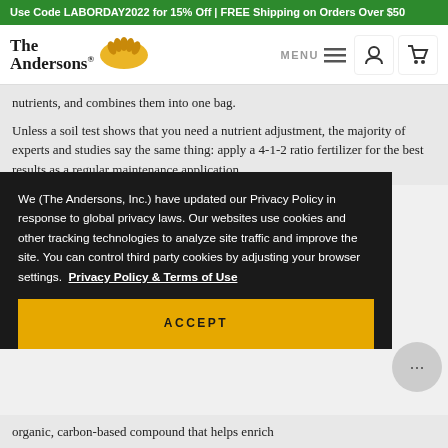Use Code LABORDAY2022 for 15% Off | FREE Shipping on Orders Over $50
[Figure (logo): The Andersons logo with wheat graphic, navigation menu icons, user icon, cart icon]
nutrients, and combines them into one bag.
Unless a soil test shows that you need a nutrient adjustment, the majority of experts and studies say the same thing: apply a 4-1-2 ratio fertilizer for the best results as a regular maintenance application.
We (The Andersons, Inc.) have updated our Privacy Policy in response to global privacy laws. Our websites use cookies and other tracking technologies to analyze site traffic and improve the site. You can control third party cookies by adjusting your browser settings.  Privacy Policy & Terms of Use
ACCEPT
organic, carbon-based compound that helps enrich